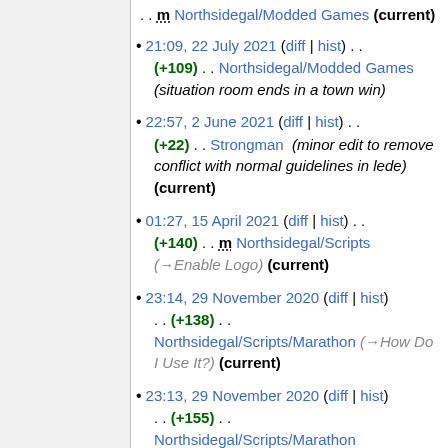. . m Northsidegal/Modded Games (current)
21:09, 22 July 2021 (diff | hist) . . (+109) . . Northsidegal/Modded Games (situation room ends in a town win)
22:57, 2 June 2021 (diff | hist) . . (+22) . . Strongman (minor edit to remove conflict with normal guidelines in lede) (current)
01:27, 15 April 2021 (diff | hist) . . (+140) . . m Northsidegal/Scripts (→Enable Logo) (current)
23:14, 29 November 2020 (diff | hist) . . (+138) . . Northsidegal/Scripts/Marathon (→How Do I Use It?) (current)
23:13, 29 November 2020 (diff | hist) . . (+155) . . Northsidegal/Scripts/Marathon